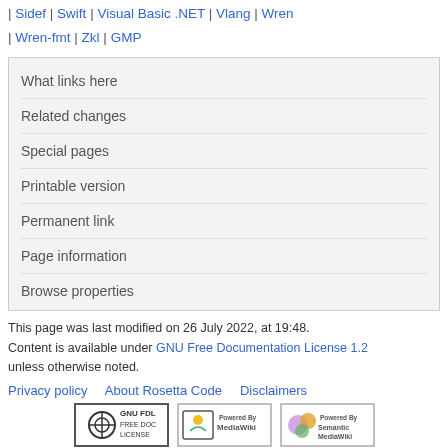| Sidef | Swift | Visual Basic .NET | Vlang | Wren | Wren-fmt | Zkl | GMP
What links here
Related changes
Special pages
Printable version
Permanent link
Page information
Browse properties
This page was last modified on 26 July 2022, at 19:48. Content is available under GNU Free Documentation License 1.2 unless otherwise noted.
Privacy policy · About Rosetta Code · Disclaimers